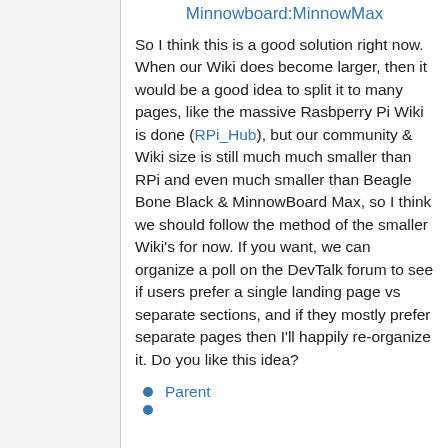Minnowboard:MinnowMax
So I think this is a good solution right now. When our Wiki does become larger, then it would be a good idea to split it to many pages, like the massive Rasbperry Pi Wiki is done (RPi_Hub), but our community & Wiki size is still much much smaller than RPi and even much smaller than Beagle Bone Black & MinnowBoard Max, so I think we should follow the method of the smaller Wiki's for now. If you want, we can organize a poll on the DevTalk forum to see if users prefer a single landing page vs separate sections, and if they mostly prefer separate pages then I'll happily re-organize it. Do you like this idea?
Parent